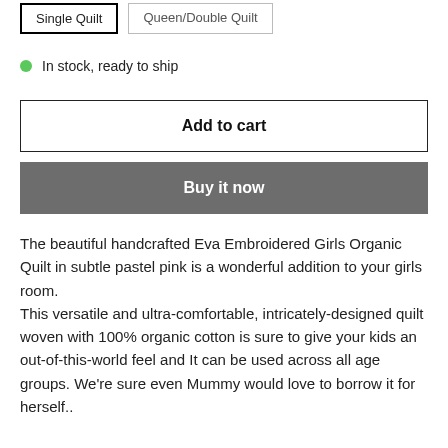Single Quilt
Queen/Double Quilt
In stock, ready to ship
Add to cart
Buy it now
The beautiful handcrafted Eva Embroidered Girls Organic Quilt in subtle pastel pink is a wonderful addition to your girls room.
This versatile and ultra-comfortable, intricately-designed quilt woven with 100% organic cotton is sure to give your kids an out-of-this-world feel and It can be used across all age groups. We're sure even Mummy would love to borrow it for herself..